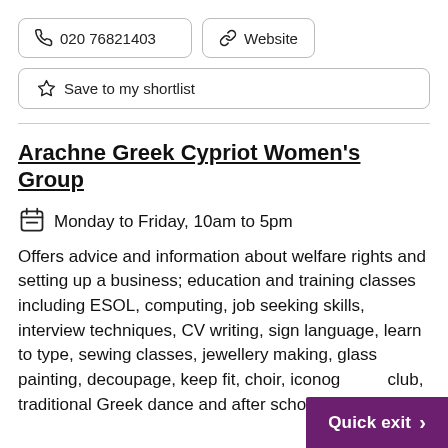📞 020 76821403
🔗 Website
☆ Save to my shortlist
Arachne Greek Cypriot Women's Group
Monday to Friday, 10am to 5pm
Offers advice and information about welfare rights and setting up a business; education and training classes including ESOL, computing, job seeking skills, interview techniques, CV writing, sign language, learn to type, sewing classes, jewellery making, glass painting, decoupage, keep fit, choir, iconog... club, traditional Greek dance and after school
Quick exit >